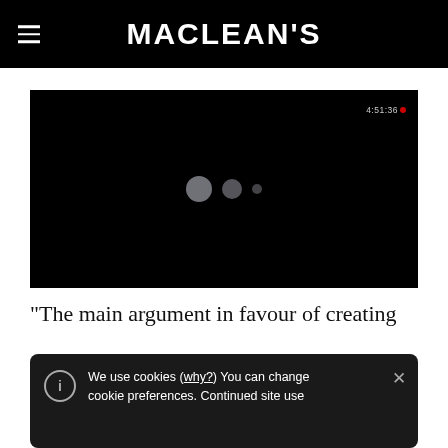MACLEAN'S
[Figure (screenshot): Black video player area with loading dots and a timer reading '4:51:36' with a red dot in the top-right corner]
“The main argument in favour of creating
We use cookies (why?) You can change cookie preferences. Continued site use